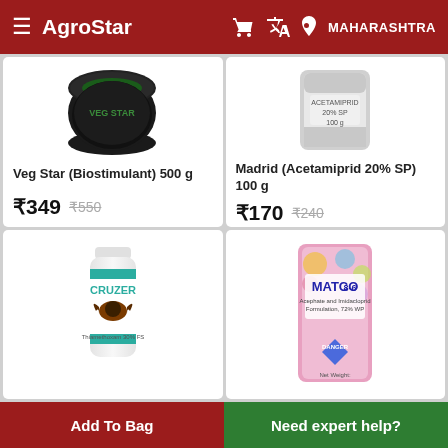AgroStar — MAHARASHTRA
[Figure (photo): Veg Star Biostimulant 500g product image - dark circular container]
Veg Star (Biostimulant) 500 g
₹349  ₹550
[Figure (photo): Madrid Acetamiprid 20% SP 100g product - silver/grey pouch packaging]
Madrid (Acetamiprid 20% SP) 100 g
₹170  ₹240
[Figure (photo): Cruzer insecticide bottle with bat logo, teal/white label]
[Figure (photo): MATCO 8-6 pesticide pink/white pouch with colorful design and DANGER label]